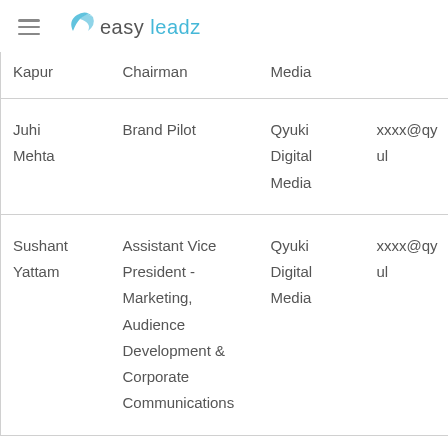easy leadz
| Name | Designation | Company | Email |
| --- | --- | --- | --- |
| Kapur | Chairman | Media |  |
| Juhi Mehta | Brand Pilot | Qyuki Digital Media | xxxx@qyul |
| Sushant Yattam | Assistant Vice President - Marketing, Audience Development & Corporate Communications | Qyuki Digital Media | xxxx@qyul |